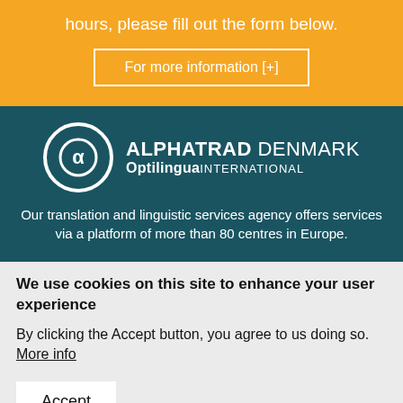hours, please fill out the form below.
For more information [+]
[Figure (logo): Alphatrad Denmark Optilingua International logo — circular icon with stylized letters, white on teal background]
Our translation and linguistic services agency offers services via a platform of more than 80 centres in Europe.
We use cookies on this site to enhance your user experience
By clicking the Accept button, you agree to us doing so. More info
Accept